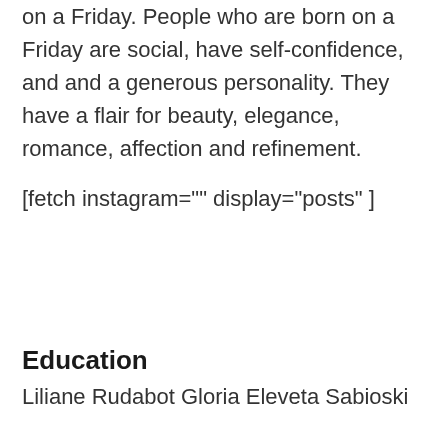on a Friday. People who are born on a Friday are social, have self-confidence, and and a generous personality. They have a flair for beauty, elegance, romance, affection and refinement.
[fetch instagram="" display="posts" ]
Education
Liliane Rudabot Gloria Eleveta Sabioski